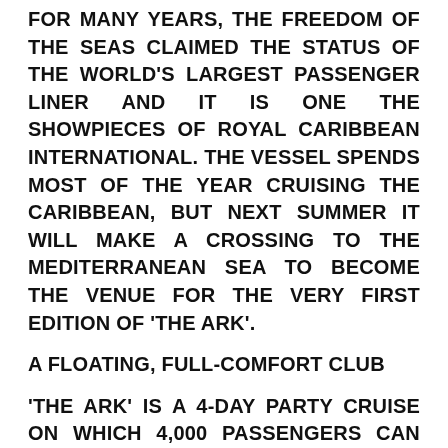FOR MANY YEARS, THE FREEDOM OF THE SEAS CLAIMED THE STATUS OF THE WORLD'S LARGEST PASSENGER LINER AND IT IS ONE THE SHOWPIECES OF ROYAL CARIBBEAN INTERNATIONAL. THE VESSEL SPENDS MOST OF THE YEAR CRUISING THE CARIBBEAN, BUT NEXT SUMMER IT WILL MAKE A CROSSING TO THE MEDITERRANEAN SEA TO BECOME THE VENUE FOR THE VERY FIRST EDITION OF 'THE ARK'.
A FLOATING, FULL-COMFORT CLUB
'THE ARK' IS A 4-DAY PARTY CRUISE ON WHICH 4,000 PASSENGERS CAN ENJOY THE HOTTEST ELECTRONIC MUSIC. THE SHIP WILL BE CONVERTED TO A LUXURIOUS FLOATING